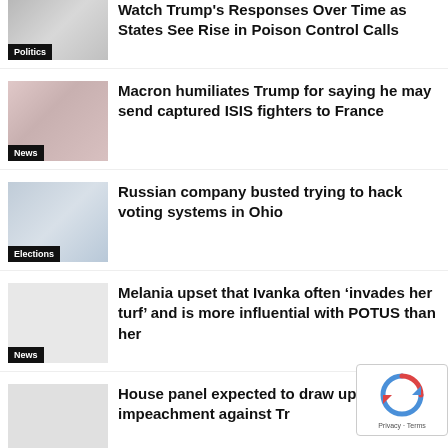[Figure (photo): Thumbnail photo for politics article about Trump]
Watch Trump's Responses Over Time as States See Rise in Poison Control Calls
[Figure (photo): Thumbnail photo for news article about Macron and Trump]
Macron humiliates Trump for saying he may send captured ISIS fighters to France
[Figure (photo): Thumbnail photo for elections article about Russian hacking]
Russian company busted trying to hack voting systems in Ohio
[Figure (photo): Thumbnail photo for news article about Melania and Ivanka]
Melania upset that Ivanka often ‘invades her turf’ and is more influential with POTUS than her
[Figure (photo): Thumbnail photo for Congress article about impeachment]
House panel expected to draw up counts of impeachment against Tr